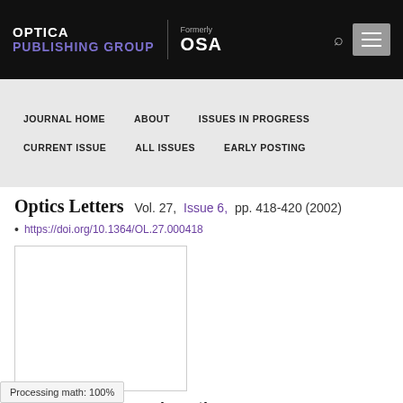OPTICA PUBLISHING GROUP | Formerly OSA
JOURNAL HOME   ABOUT   ISSUES IN PROGRESS   CURRENT ISSUE   ALL ISSUES   EARLY POSTING
Optics Letters  Vol. 27,  Issue 6,  pp. 418-420  (2002)
• https://doi.org/10.1364/OL.27.000418
[Figure (other): Article cover image placeholder (white box with gray border)]
Fiber laser-pumped continuous-wave OPO by resonant optical...